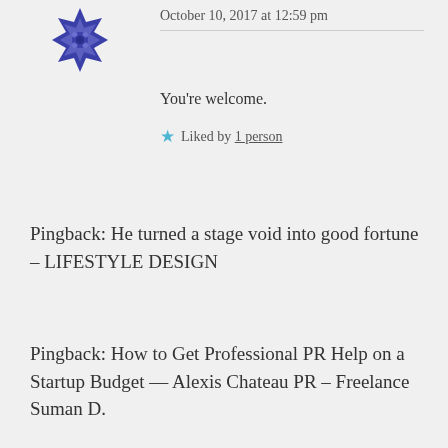[Figure (illustration): Blue decorative star/snowflake avatar icon in dark blue/purple color]
October 10, 2017 at 12:59 pm
You're welcome.
★ Liked by 1 person
Pingback: He turned a stage void into good fortune – LIFESTYLE DESIGN
Pingback: How to Get Professional PR Help on a Startup Budget — Alexis Chateau PR – Freelance Suman D.